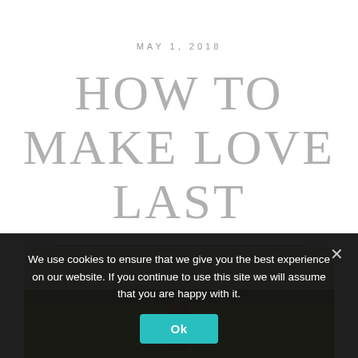MAY 1, 2018
HOW TO MAKE LOVE LAST
[Figure (photo): Outdoor photo of a person, partially visible, with a landscape background in muted earthy tones]
We use cookies to ensure that we give you the best experience on our website. If you continue to use this site we will assume that you are happy with it.